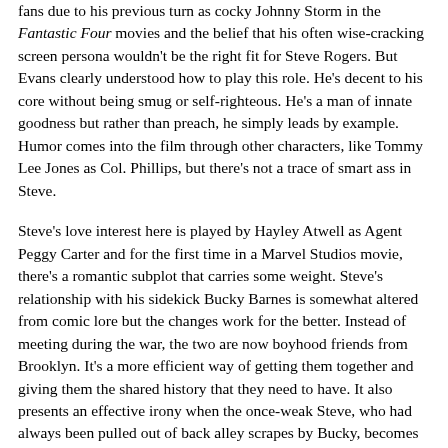fans due to his previous turn as cocky Johnny Storm in the Fantastic Four movies and the belief that his often wise-cracking screen persona wouldn't be the right fit for Steve Rogers. But Evans clearly understood how to play this role. He's decent to his core without being smug or self-righteous. He's a man of innate goodness but rather than preach, he simply leads by example. Humor comes into the film through other characters, like Tommy Lee Jones as Col. Phillips, but there's not a trace of smart ass in Steve.
Steve's love interest here is played by Hayley Atwell as Agent Peggy Carter and for the first time in a Marvel Studios movie, there's a romantic subplot that carries some weight. Steve's relationship with his sidekick Bucky Barnes is somewhat altered from comic lore but the changes work for the better. Instead of meeting during the war, the two are now boyhood friends from Brooklyn. It's a more efficient way of getting them together and giving them the shared history that they need to have. It also presents an effective irony when the once-weak Steve, who had always been pulled out of back alley scrapes by Bucky, becomes the man leading Bucky into battle. It would've been nice to see more of Bucky